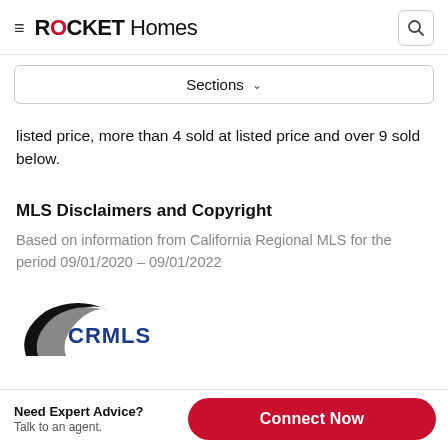ROCKET Homes
Sections
listed price, more than 4 sold at listed price and over 9 sold below.
MLS Disclaimers and Copyright
Based on information from California Regional MLS for the period 09/01/2020 – 09/01/2022
[Figure (logo): CRMLS logo — California Regional MLS logo with stylized swoosh and blue text]
Need Expert Advice? Talk to an agent. Connect Now